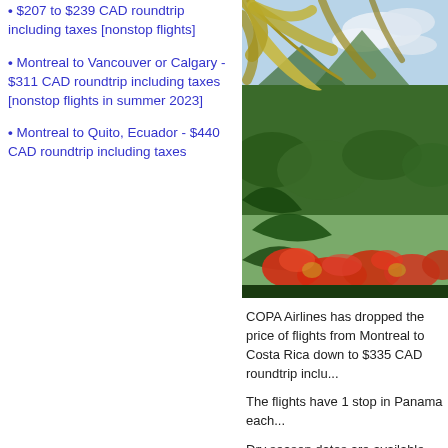$207 to $239 CAD roundtrip including taxes [nonstop flights]
Montreal to Vancouver or Calgary - $311 CAD roundtrip including taxes [nonstop flights in summer 2023]
Montreal to Quito, Ecuador - $440 CAD roundtrip including taxes
[Figure (photo): Tropical rainforest scene with palm fronds, lush green vegetation and red tropical plants in the foreground with misty mountains in the background]
COPA Airlines has dropped the price of flights from Montreal to Costa Rica down to $335 CAD roundtrip inclu...
The flights have 1 stop in Panama each...
Dry season dates are available.
Availability for travel
October, November, December 2018